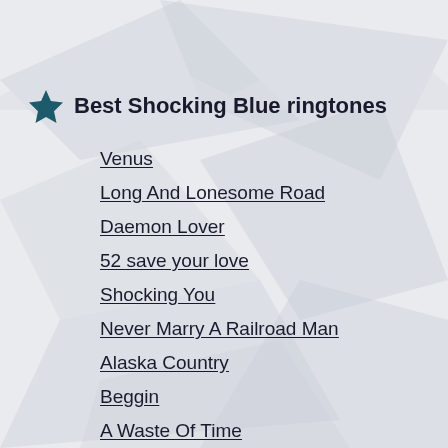Best Shocking Blue ringtones
Venus
Long And Lonesome Road
Daemon Lover
52 save your love
Shocking You
Never Marry A Railroad Man
Alaska Country
Beggin
A Waste Of Time
Blossom Lady